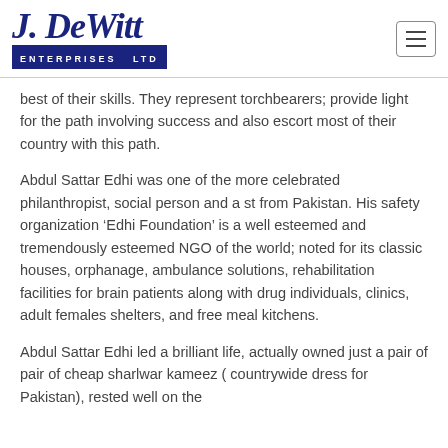J. DeWitt Enterprises Ltd
best of their skills. They represent torchbearers; provide light for the path involving success and also escort most of their country with this path.
Abdul Sattar Edhi was one of the more celebrated philanthropist, social person and a st from Pakistan. His safety organization ‘Edhi Foundation’ is a well esteemed and tremendously esteemed NGO of the world; noted for its classic houses, orphanage, ambulance solutions, rehabilitation facilities for brain patients along with drug individuals, clinics, adult females shelters, and free meal kitchens.
Abdul Sattar Edhi led a brilliant life, actually owned just a pair of pair of cheap sharlwar kameez ( countrywide dress for Pakistan), rested well on the